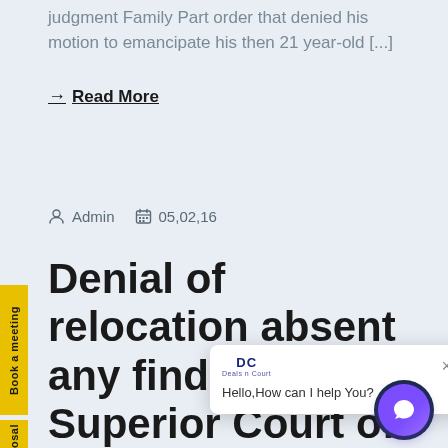judgment Family Part order that denied his motion to emancipate his then 21 year-old [...]
→ Read More
Admin   05,02,16
Denial of relocation absent any findings re Superior Court of New Jersey
[Figure (screenshot): Chat popup overlay with DC logo and 'Hello, How can I help You?' message, close button, and circular purple chat button]